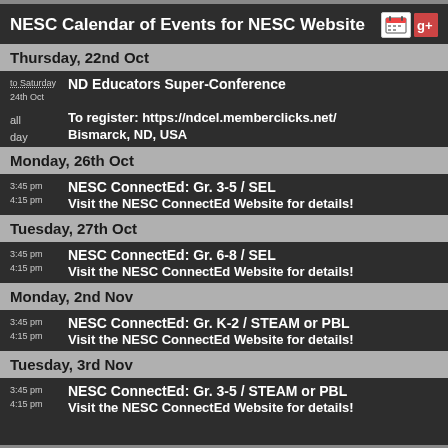NESC Calendar of Events for NESC Website
Thursday, 22nd Oct
to Saturday 24th Oct  ND Educators Super-Conference
all day  To register: https://ndcel.memberclicks.net/
Bismarck, ND, USA
Monday, 26th Oct
3:45 pm
4:15 pm  NESC ConnectEd: Gr. 3-5 / SEL
Visit the NESC ConnectEd Website for details!
Tuesday, 27th Oct
3:45 pm
4:15 pm  NESC ConnectEd: Gr. 6-8 / SEL
Visit the NESC ConnectEd Website for details!
Monday, 2nd Nov
3:45 pm
4:15 pm  NESC ConnectEd: Gr. K-2 / STEAM or PBL
Visit the NESC ConnectEd Website for details!
Tuesday, 3rd Nov
3:45 pm
4:15 pm  NESC ConnectEd: Gr. 3-5 / STEAM or PBL
Visit the NESC ConnectEd Website for details!